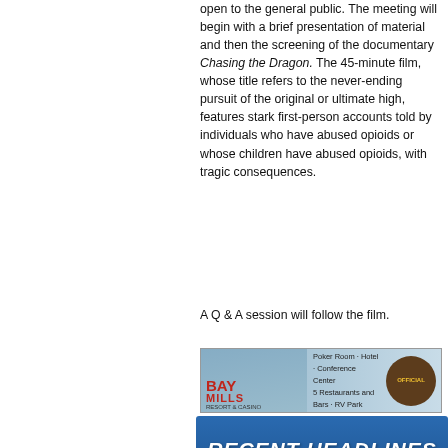open to the general public. The meeting will begin with a brief presentation of material and then the screening of the documentary Chasing the Dragon. The 45-minute film, whose title refers to the never-ending pursuit of the original or ultimate high, features stark first-person accounts told by individuals who have abused opioids or whose children have abused opioids, with tragic consequences.
A Q & A session will follow the film.
[Figure (photo): Bay Mills Resort and Casino advertisement banner showing aerial view of resort with text: 2 Casinos · Slots · Table Games / Poker Room · Hotel · Conference Center / 5 Restaurants and Bars · RV Park / Championship Golf Course, with Official logo badge]
RECENT HEADLINES
Bay Mills Township Recreation Survey post
EUP Festival of Voice to be held
EUP Festival of Voice to be held
Fish kills are common in the spring